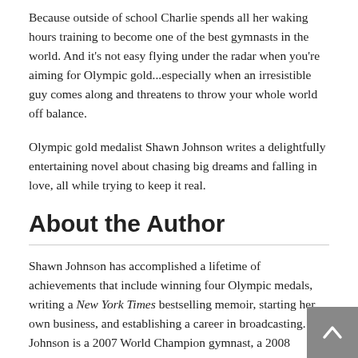Because outside of school Charlie spends all her waking hours training to become one of the best gymnasts in the world. And it's not easy flying under the radar when you're aiming for Olympic gold...especially when an irresistible guy comes along and threatens to throw your whole world off balance.
Olympic gold medalist Shawn Johnson writes a delightfully entertaining novel about chasing big dreams and falling in love, all while trying to keep it real.
About the Author
Shawn Johnson has accomplished a lifetime of achievements that include winning four Olympic medals, writing a New York Times bestselling memoir, starting her own business, and establishing a career in broadcasting. Johnson is a 2007 World Champion gymnast, a 2008 Olympic women's gymnastics and silver medalist, and a 2006, 2007, and 2008 Olympic women's gymnastics gold and silver medalist, and a